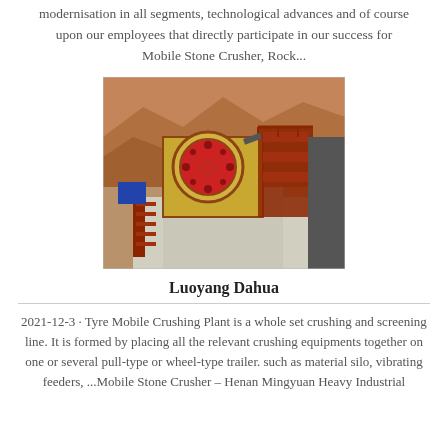modernisation in all segments, technological advances and of course upon our employees that directly participate in our success for Mobile Stone Crusher, Rock...
[Figure (photo): Photograph of a mobile stone crusher / jaw crusher machine at a quarry or construction site. The machine is yellow and dark red/maroon in color, mounted on a concrete platform with stairs. Rocky hillside visible in background.]
Luoyang Dahua
2021-12-3 · Tyre Mobile Crushing Plant is a whole set crushing and screening line. It is formed by placing all the relevant crushing equipments together on one or several pull-type or wheel-type trailer. such as material silo, vibrating feeders, ...Mobile Stone Crusher – Henan Mingyuan Heavy Industrial ...Mobile Stone Crusher – Henan Min...